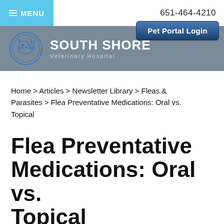≡ MENU   651-464-4210
[Figure (logo): South Shore Veterinary Hospital logo — circular icon with dog and cat silhouettes in blue outline, text 'SOUTH SHORE Veterinary Hospital' in white on grey background. Pet Portal Login button in dark blue.]
Home > Articles > Newsletter Library > Fleas & Parasites > Flea Preventative Medications: Oral vs. Topical
Flea Preventative Medications: Oral vs. Topical